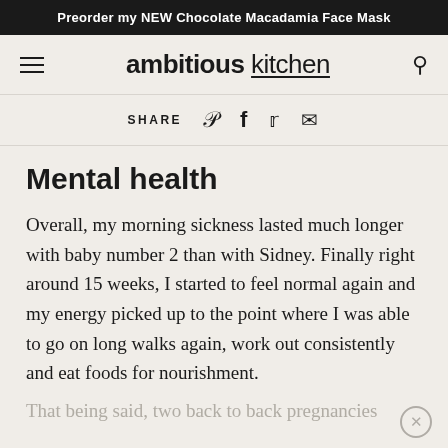Preorder my NEW Chocolate Macadamia Face Mask
ambitious kitchen
SHARE
Mental health
Overall, my morning sickness lasted much longer with baby number 2 than with Sidney. Finally right around 15 weeks, I started to feel normal again and my energy picked up to the point where I was able to go on long walks again, work out consistently and eat foods for nourishment.
That being said, two back to back pregnancies